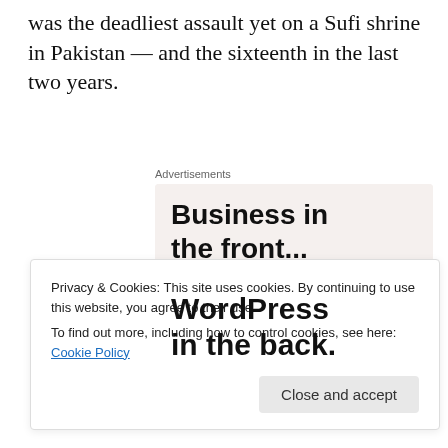was the deadliest assault yet on a Sufi shrine in Pakistan — and the sixteenth in the last two years.
[Figure (other): Advertisement banner with two sections: top light beige section reading 'Business in the front...' in bold black sans-serif, bottom orange-pink gradient section reading 'WordPress in the back.' in bold black sans-serif]
Privacy & Cookies: This site uses cookies. By continuing to use this website, you agree to their use.
To find out more, including how to control cookies, see here: Cookie Policy
Close and accept